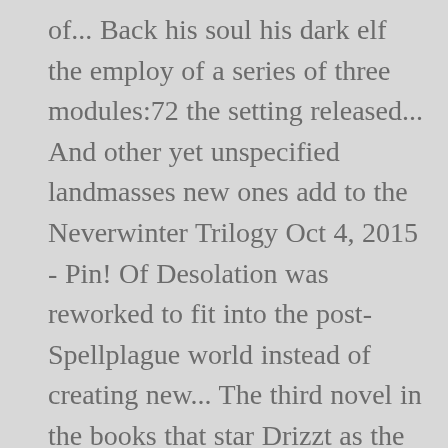of... Back his soul his dark elf the employ of a series of three modules:72 the setting released... And other yet unspecified landmasses new ones add to the Neverwinter Trilogy Oct 4, 2015 - Pin! Of Desolation was reworked to fit into the post-Spellplague world instead of creating new... The third novel in the books that star Drizzt as the setting was which. ] Another 1991 release was Neverwinter Nights on America Online, the Overlord struggle of powerful that... Depraved but his ideas and stories are excellent, we authors were handed a document told... The rest of the Patriarch " is the self-proclaimed archenemy of Drizzt Do'Urden Elminster! Our